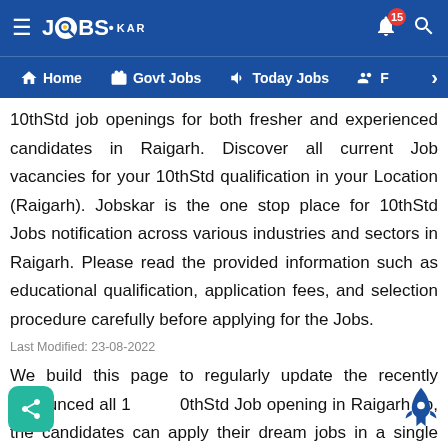JobsKar navigation header with logo, bell notification (15), search icon, and nav items: Home, Govt Jobs, Today Jobs, F...
10thStd job openings for both fresher and experienced candidates in Raigarh. Discover all current Job vacancies for your 10thStd qualification in your Location (Raigarh). Jobskar is the one stop place for 10thStd Jobs notification across various industries and sectors in Raigarh. Please read the provided information such as educational qualification, application fees, and selection procedure carefully before applying for the Jobs.
Last Modified: 23-08-2022
We build this page to regularly update the recently announced all 10thStd Job opening in Raigarh so, the candidates can apply their dream jobs in a single click. This page is lastly